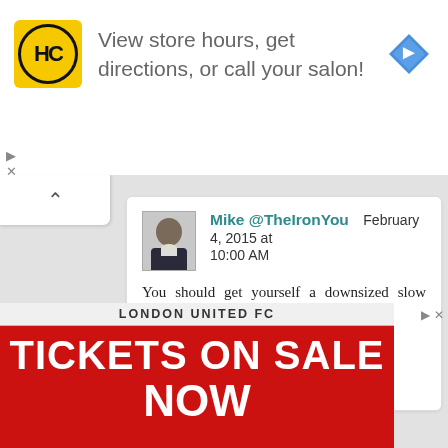[Figure (screenshot): Advertisement banner with HC logo (yellow square with black circular HC text), navigation arrow icon, and text 'View store hours, get directions, or call your salon!']
Mike @TheIronYou  February 4, 2015 at 10:00 AM
You should get yourself a downsized slow cooker, if that even exists...
Reply
[Figure (screenshot): Red advertisement banner for London United FC showing 'TICKETS ON SALE NOW' in large white bold text]